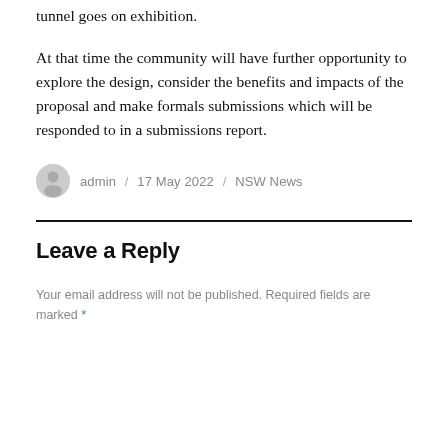tunnel goes on exhibition.
At that time the community will have further opportunity to explore the design, consider the benefits and impacts of the proposal and make formals submissions which will be responded to in a submissions report.
admin / 17 May 2022 / NSW News
Leave a Reply
Your email address will not be published. Required fields are marked *